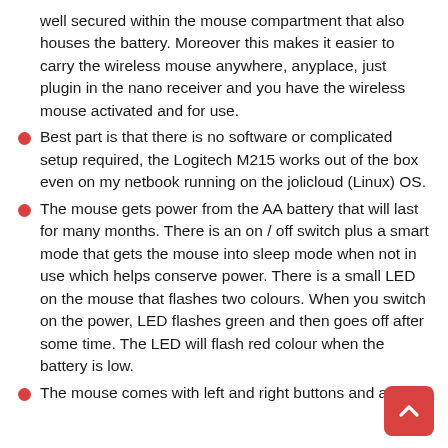well secured within the mouse compartment that also houses the battery. Moreover this makes it easier to carry the wireless mouse anywhere, anyplace, just plugin in the nano receiver and you have the wireless mouse activated and for use.
Best part is that there is no software or complicated setup required, the Logitech M215 works out of the box even on my netbook running on the jolicloud (Linux) OS.
The mouse gets power from the AA battery that will last for many months. There is an on / off switch plus a smart mode that gets the mouse into sleep mode when not in use which helps conserve power. There is a small LED on the mouse that flashes two colours. When you switch on the power, LED flashes green and then goes off after some time. The LED will flash red colour when the battery is low.
The mouse comes with left and right buttons and a